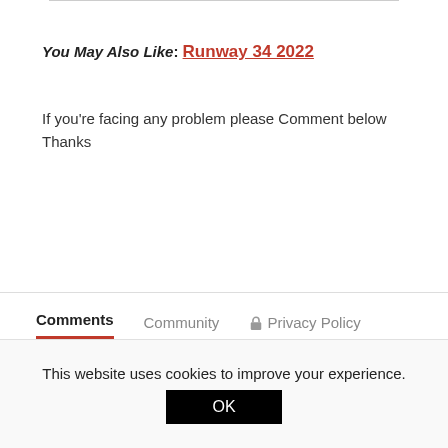You May Also Like: Runway 34 2022
If you’re facing any problem please Comment below Thanks
Comments  Community  🔒 Privacy Policy
1  Login
This website uses cookies to improve your experience. OK